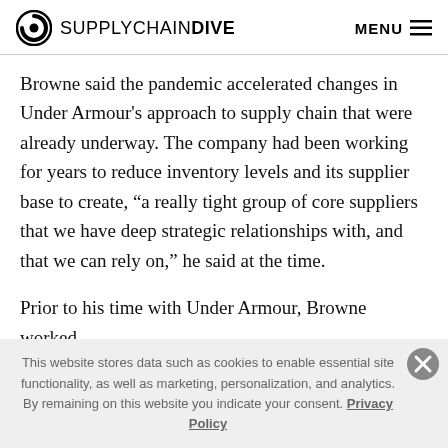SUPPLYCHAINDIVE | MENU
Browne said the pandemic accelerated changes in Under Armour's approach to supply chain that were already underway. The company had been working for years to reduce inventory levels and its supplier base to create, “a really tight group of core suppliers that we have deep strategic relationships with, and that we can rely on,” he said at the time.
Prior to his time with Under Armour, Browne worked
This website stores data such as cookies to enable essential site functionality, as well as marketing, personalization, and analytics. By remaining on this website you indicate your consent. Privacy Policy